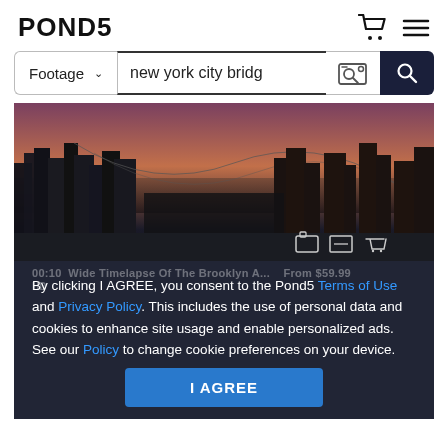POND5
[Figure (screenshot): Search bar with Footage dropdown, text input 'new york city bridg', image search icon, and search button]
[Figure (photo): Aerial view of New York City at dusk/sunset showing bridges and skyline with dark tones]
By clicking I AGREE, you consent to the Pond5 Terms of Use and Privacy Policy. This includes the use of personal data and cookies to enhance site usage and enable personalized ads. See our Policy to change cookie preferences on your device.
I AGREE